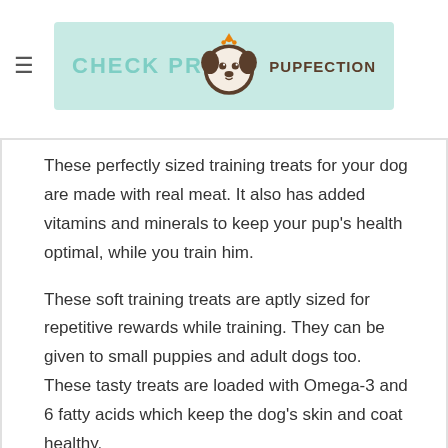CHECK PRICE PUPFECTION
These perfectly sized training treats for your dog are made with real meat. It also has added vitamins and minerals to keep your pup's health optimal, while you train him.
These soft training treats are aptly sized for repetitive rewards while training. They can be given to small puppies and adult dogs too. These tasty treats are loaded with Omega-3 and 6 fatty acids which keep the dog's skin and coat healthy.